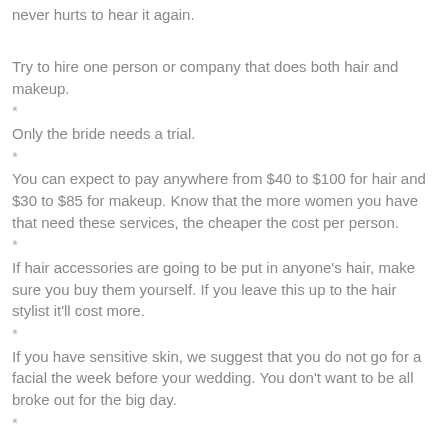never hurts to hear it again.
Try to hire one person or company that does both hair and makeup.
*
Only the bride needs a trial.
*
You can expect to pay anywhere from $40 to $100 for hair and $30 to $85 for makeup. Know that the more women you have that need these services, the cheaper the cost per person.
*
If hair accessories are going to be put in anyone's hair, make sure you buy them yourself. If you leave this up to the hair stylist it'll cost more.
*
If you have sensitive skin, we suggest that you do not go for a facial the week before your wedding. You don't want to be all broke out for the big day.
*